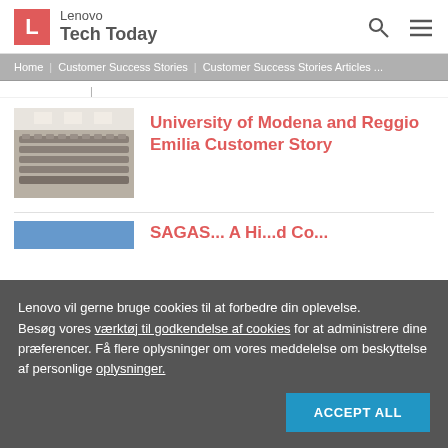Lenovo Tech Today
Home | Customer Success Stories | Customer Success Stories Articles ...
[Figure (photo): University lecture hall with rows of empty seats]
University of Modena and Reggio Emilia Customer Story
SAGAS... A Hi...d Co...
Lenovo vil gerne bruge cookies til at forbedre din oplevelse. Besøg vores værktøj til godkendelse af cookies for at administrere dine præferencer. Få flere oplysninger om vores meddelelse om beskyttelse af personlige oplysninger.
ACCEPT ALL